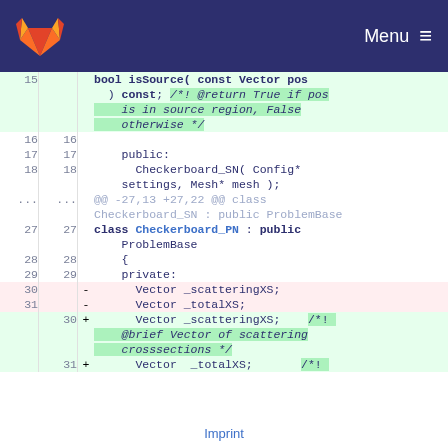GitLab — Menu
[Figure (screenshot): Code diff view showing changes to Checkerboard_SN/Checkerboard_PN C++ class definitions. Lines showing additions of Doxygen comments to Vector _scatteringXS and Vector _totalXS members, and a new class Checkerboard_PN inheriting from ProblemBase.]
Imprint